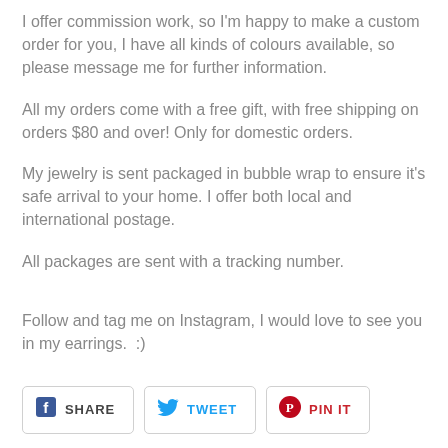I offer commission work, so I'm happy to make a custom order for you, I have all kinds of colours available, so please message me for further information.
All my orders come with a free gift, with free shipping on orders $80 and over! Only for domestic orders.
My jewelry is sent packaged in bubble wrap to ensure it's safe arrival to your home. I offer both local and international postage.
All packages are sent with a tracking number.
Follow and tag me on Instagram, I would love to see you in my earrings.  :)
[Figure (other): Social sharing buttons: SHARE (Facebook), TWEET (Twitter), PIN IT (Pinterest)]